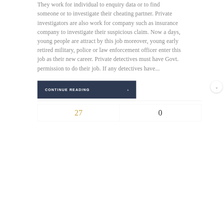They work for individual to enquiry data or to find someone or to investigate their cheating partner. Private investigators are also work for company such as insurance company to investigate their suspicious claim. Now a days, young people are attract by this job moreover, young early retired military, police or law enforcement officer enter this job as their new career. Private detectives must have Govt. permission to do their job. If any detectives have...
CONTINUE READING ›
27
0